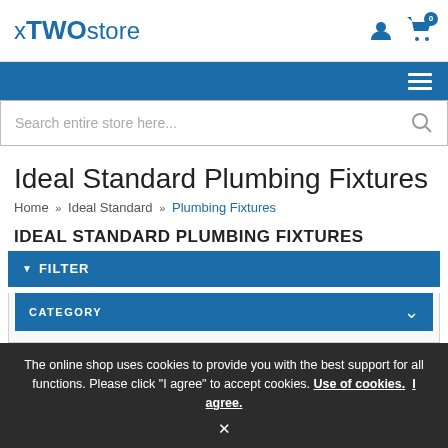xTWOstore
Search entire store here...
Ideal Standard Plumbing Fixtures
Home » Ideal Standard » Plumbing Fixtures
IDEAL STANDARD PLUMBING FIXTURES
▼ FILTER
CATEGORY
The online shop uses cookies to provide you with the best support for all functions. Please click "I agree" to accept cookies. Use of cookies. I agree.